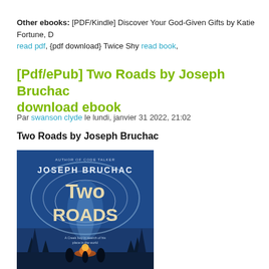Other ebooks: [PDF/Kindle] Discover Your God-Given Gifts by Katie Fortune, D read pdf, {pdf download} Twice Shy read book,
[Pdf/ePub] Two Roads by Joseph Bruchac download ebook
Par swanson clyde le lundi, janvier 31 2022, 21:02
Two Roads by Joseph Bruchac
[Figure (illustration): Book cover of 'Two Roads' by Joseph Bruchac. Blue background with swirling light patterns, title 'Two Roads' in large cream/gold letters, author name 'JOSEPH BRUCHAC' at top, tagline 'A Creek boy in search of his place in the world' at bottom, silhouettes of figures around a fire.]